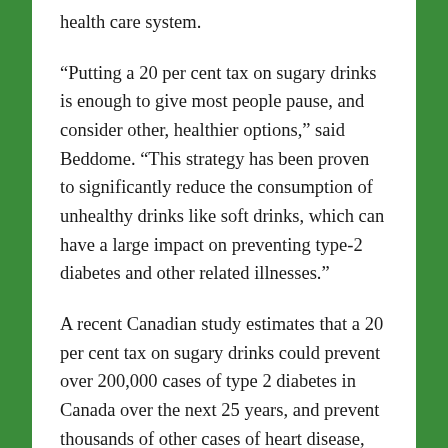health care system.
“Putting a 20 per cent tax on sugary drinks is enough to give most people pause, and consider other, healthier options,” said Beddome. “This strategy has been proven to significantly reduce the consumption of unhealthy drinks like soft drinks, which can have a large impact on preventing type-2 diabetes and other related illnesses.”
A recent Canadian study estimates that a 20 per cent tax on sugary drinks could prevent over 200,000 cases of type 2 diabetes in Canada over the next 25 years, and prevent thousands of other cases of heart disease, strokes and cancer. In addition, the initiative would save an estimated $11 billion in health care costs over the same time period. For Manitoba, this works out to